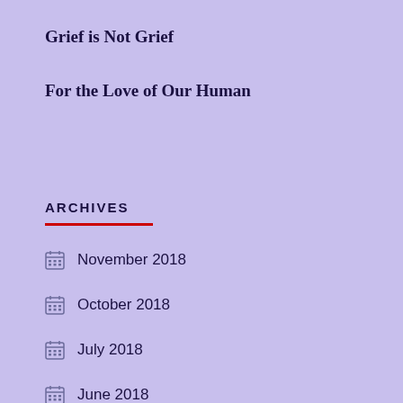Grief is Not Grief
For the Love of Our Human
ARCHIVES
November 2018
October 2018
July 2018
June 2018